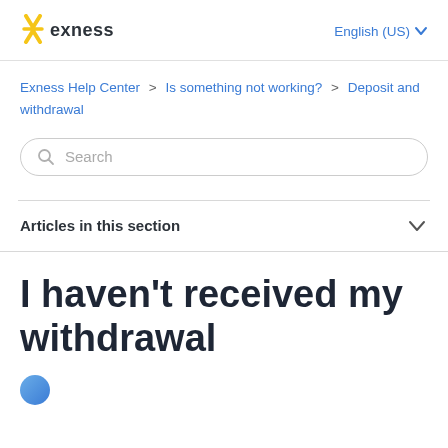[Figure (logo): Exness logo with stylized X mark in gold/yellow and the text 'exness' in dark color]
English (US) ∨
Exness Help Center > Is something not working? > Deposit and withdrawal
Search
Articles in this section
I haven't received my withdrawal